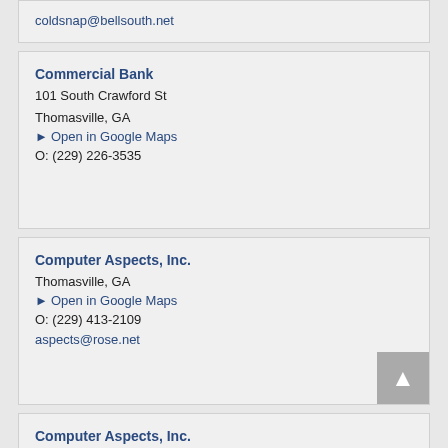coldsnap@bellsouth.net
Commercial Bank
101 South Crawford St
Thomasville, GA
Open in Google Maps
O: (229) 226-3535
Computer Aspects, Inc.
Thomasville, GA
Open in Google Maps
O: (229) 413-2109
aspects@rose.net
Computer Aspects, Inc.
Thomasville, GA
Open in Google Maps
O: (229) 413-2109